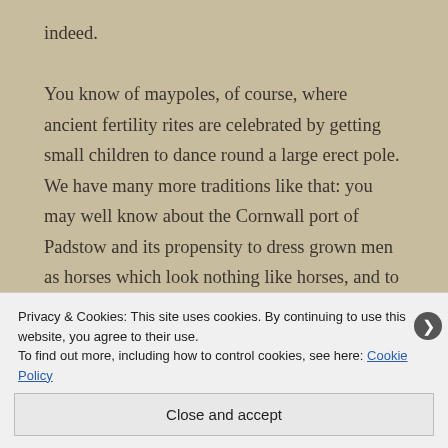indeed.

You know of maypoles, of course, where ancient fertility rites are celebrated by getting small children to dance round a large erect pole. We have many more traditions like that: you may well know about the Cornwall port of Padstow and its propensity to dress grown men as horses which look nothing like horses, and to call them ‘Osses because that’s what they have called them for centuries. Every May-day there’s a procession through the streets of
Privacy & Cookies: This site uses cookies. By continuing to use this website, you agree to their use.
To find out more, including how to control cookies, see here: Cookie Policy
Close and accept